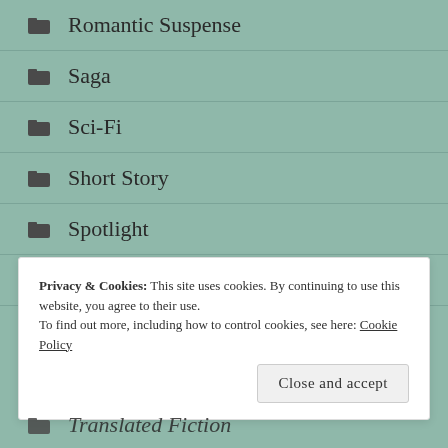Romantic Suspense
Saga
Sci-Fi
Short Story
Spotlight
Supernatural
Privacy & Cookies: This site uses cookies. By continuing to use this website, you agree to their use.
To find out more, including how to control cookies, see here: Cookie Policy
Translated Fiction